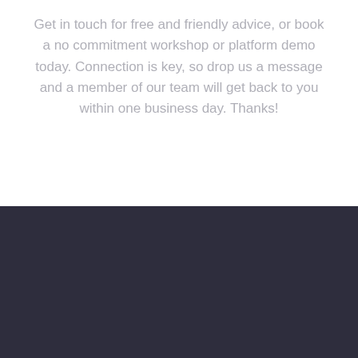Get in touch for free and friendly advice, or book a no commitment workshop or platform demo today. Connection is key, so drop us a message and a member of our team will get back to you within one business day. Thanks!